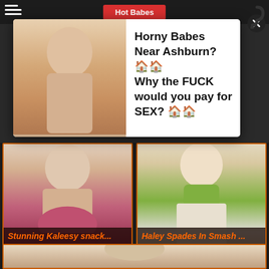Hot Babes
[Figure (photo): Advertisement popup overlay with photo of woman and text: Horny Babes Near Ashburn? Why the FUCK would you pay for SEX?]
Horny Babes Near Ashburn? 🏠🏠 Why the FUCK would you pay for SEX? 🏠🏠
[Figure (photo): Photo of young brunette woman in white top and pink skirt in kitchen setting]
Stunning Kaleesy snack...
[Figure (photo): Photo of blonde woman in green sports bra leaning forward]
Haley Spades In Smash ...
[Figure (photo): Partial photo at bottom of page, woman visible from behind]